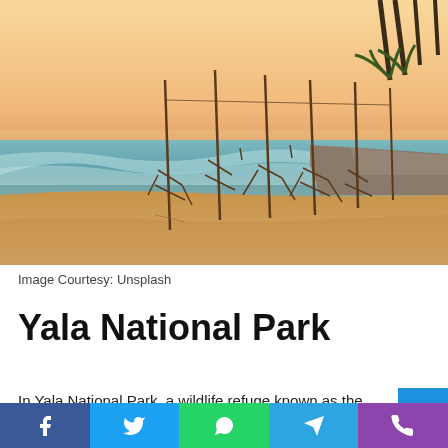[Figure (photo): Beach scene at golden hour with traditional Sri Lankan stilt fishing poles arranged on the sandy shore, turquoise waves, and palm trees in the background.]
Image Courtesy: Unsplash
Yala National Park
In Yala National Park, a wildlife refuge known as the Yala